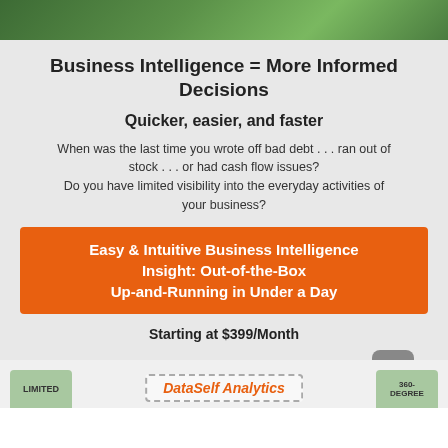[Figure (photo): Partial photo strip showing green background, appears to be a golf or outdoor scene]
Business Intelligence = More Informed Decisions
Quicker, easier, and faster
When was the last time you wrote off bad debt . . . ran out of stock . . . or had cash flow issues?
Do you have limited visibility into the everyday activities of your business?
Easy & Intuitive Business Intelligence Insight: Out-of-the-Box Up-and-Running in Under a Day
Starting at $399/Month
LIMITED
360-DEGREE